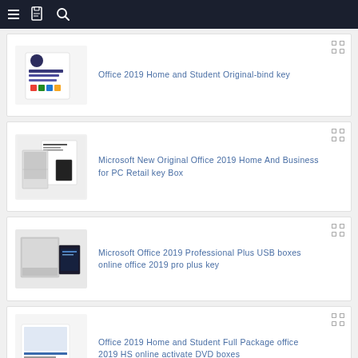Navigation header with hamburger menu, book icon, and search icon
[Figure (screenshot): Office 2019 Home and Student product box image]
Office 2019 Home and Student Original-bind key
[Figure (screenshot): Microsoft Office 2019 Home and Business retail box image]
Microsoft New Original Office 2019 Home And Business for PC Retail key Box
[Figure (screenshot): Microsoft Office 2019 Professional Plus USB box image]
Microsoft Office 2019 Professional Plus USB boxes online office 2019 pro plus key
[Figure (screenshot): Office 2019 Home and Student Full Package DVD box image]
Office 2019 Home and Student Full Package office 2019 HS online activate DVD boxes